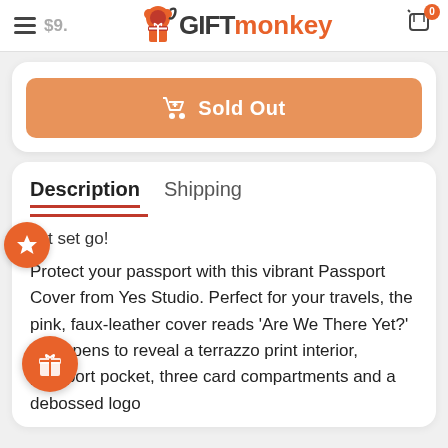GIFTmonkey — $9.x — Cart: 0
Sold Out
Description | Shipping
Jet set go!
Protect your passport with this vibrant Passport Cover from Yes Studio. Perfect for your travels, the pink, faux-leather cover reads 'Are We There Yet?' and opens to reveal a terrazzo print interior, passport pocket, three card compartments and a debossed logo